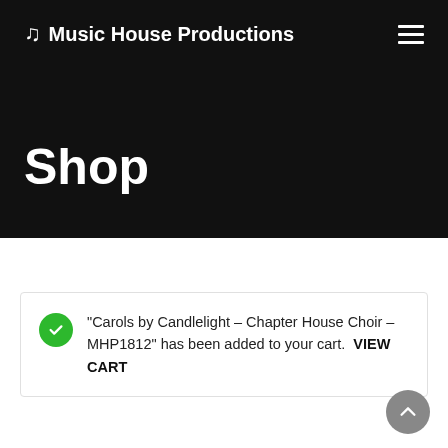♫ Music House Productions
Shop
"Carols by Candlelight – Chapter House Choir – MHP1812" has been added to your cart.  VIEW CART